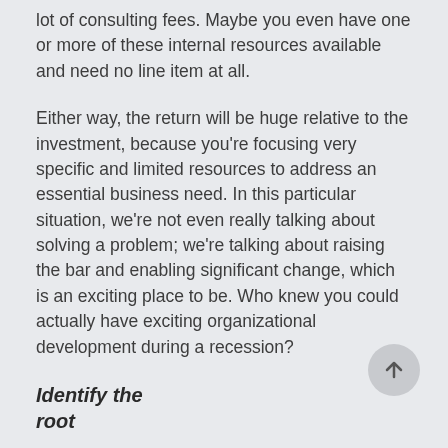lot of consulting fees. Maybe you even have one or more of these internal resources available and need no line item at all.
Either way, the return will be huge relative to the investment, because you're focusing very specific and limited resources to address an essential business need. In this particular situation, we're not even really talking about solving a problem; we're talking about raising the bar and enabling significant change, which is an exciting place to be. Who knew you could actually have exciting organizational development during a recession?
Identify the root